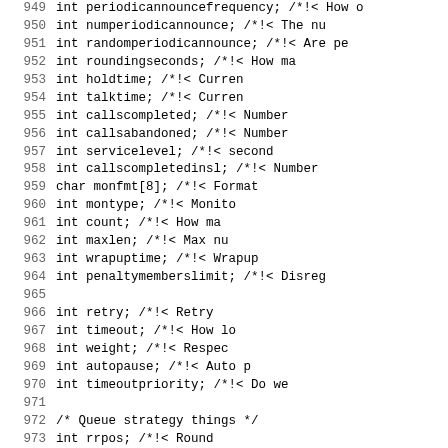Source code listing lines 949-980, C struct member declarations with Doxygen comments
949    int periodicannouncefrequency;    /*!< How o
950    int numperiodicannounce;          /*!< The nu
951    int randomperiodicannounce;       /*!< Are pe
952    int roundingseconds;              /*!< How ma
953    int holdtime;                     /*!< Curren
954    int talktime;                     /*!< Curren
955    int callscompleted;               /*!< Number
956    int callsabandoned;               /*!< Number
957    int servicelevel;                 /*!< second
958    int callscompletedinsl;           /*!< Number
959    char monfmt[8];                   /*!< Format
960    int montype;                      /*!< Monito
961    int count;                        /*!< How ma
962    int maxlen;                       /*!< Max nu
963    int wrapuptime;                   /*!< Wrapup
964    int penaltymemberslimit;          /*!< Disreg
965
966    int retry;                        /*!< Retry
967    int timeout;                      /*!< How lo
968    int weight;                       /*!< Respec
969    int autopause;                    /*!< Auto p
970    int timeoutpriority;              /*!< Do we
971
972    /* Queue strategy things */
973    int rrpos;                        /*!< Round
974    int memberdelay;                  /*!< Second
975    int autofill;                     /*!< Ignore
976
977    struct ao2_container *members;    /*!<
978    /*!
979     * \brief Number of members _logged in_
980     * \note There will be members in the members c